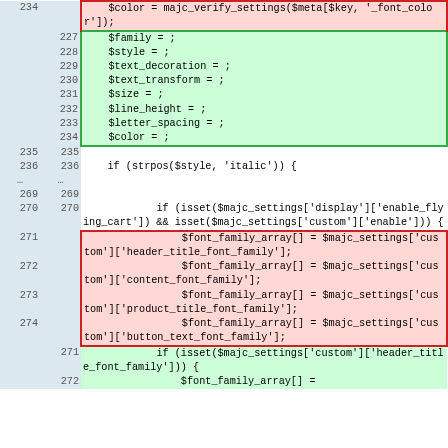[Figure (screenshot): A code diff view showing PHP code changes. Red-highlighted rows (deleted lines) on left with old line numbers, green-highlighted rows (added lines) on right with new line numbers. Lines 227-234 shown as additions (green), lines 235-236 as context, ellipsis row, lines 269-270 as context, lines 271-274 as deletions (red), lines 271-272 as additions (green).]